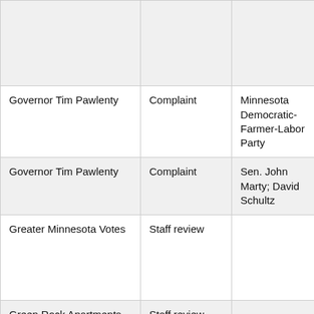| Subject | Type | Complainant/Source | Issue |
| --- | --- | --- | --- |
|  |  |  | circumvent corporate contribution contribution limits; rep |
| Governor Tim Pawlenty | Complaint | Minnesota Democratic-Farmer-Labor Party | Reporting timely rendering bills; reimburse of automo use |
| Governor Tim Pawlenty | Complaint | Sen. John Marty; David Schultz | Lobbyist g ban |
| Greater Minnesota Votes | Staff review |  | Contributi from unregiste associatio without required disclosure |
| Green Rock Apartments LLC | Staff review |  | Corporate contributi |